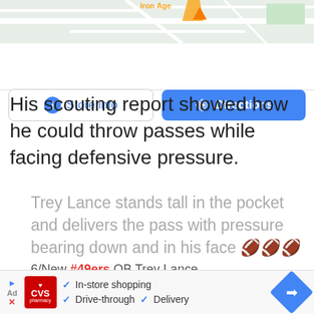[Figure (screenshot): Google Maps partial view with Store info and Directions buttons]
His scouting report showed how he could throw passes while facing defensive pressure.
Trey Lance stands tall in the pocket and delivers the pass with pressure bearing down and in his face 🏈🏈🏈
6/New #49ers QB Trey Lance pic.twitter.com/9lLPvQPyVx
[Figure (screenshot): CVS Pharmacy advertisement banner with In-store shopping, Drive-through, and Delivery checkmarks]